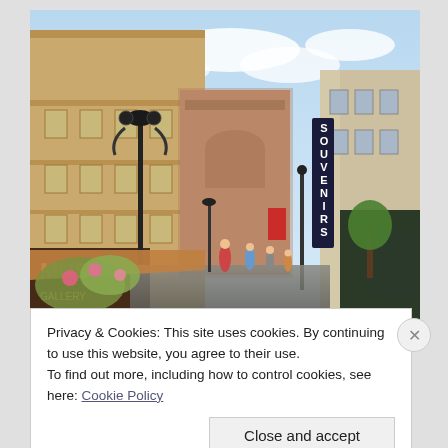[Figure (photo): Street-level photograph of a European pedestrian shopping street with historic ornate buildings on the left, a vertical 'Souvenirs' sign on the right, lamp posts, trees, and people walking in the distance under a partly cloudy sky.]
Privacy & Cookies: This site uses cookies. By continuing to use this website, you agree to their use.
To find out more, including how to control cookies, see here: Cookie Policy
Close and accept